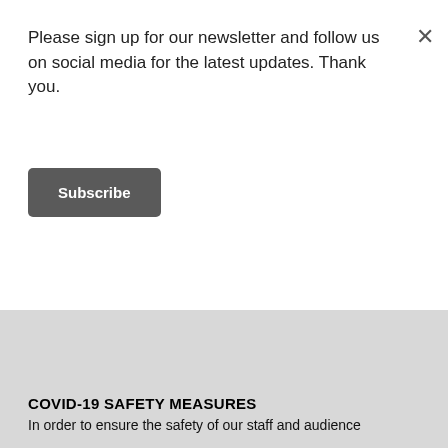Please sign up for our newsletter and follow us on social media for the latest updates. Thank you.
Subscribe
COVID-19 SAFETY MEASURES
In order to ensure the safety of our staff and audience